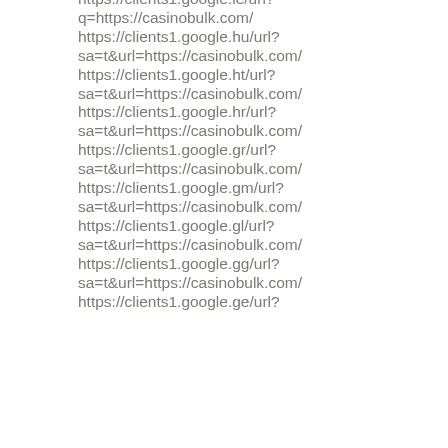https://clients1.google.ie/url?q=https://casinobulk.com/
https://clients1.google.hu/url?sa=t&url=https://casinobulk.com/
https://clients1.google.ht/url?sa=t&url=https://casinobulk.com/
https://clients1.google.hr/url?sa=t&url=https://casinobulk.com/
https://clients1.google.gr/url?sa=t&url=https://casinobulk.com/
https://clients1.google.gm/url?sa=t&url=https://casinobulk.com/
https://clients1.google.gl/url?sa=t&url=https://casinobulk.com/
https://clients1.google.gg/url?sa=t&url=https://casinobulk.com/
https://clients1.google.ge/url?